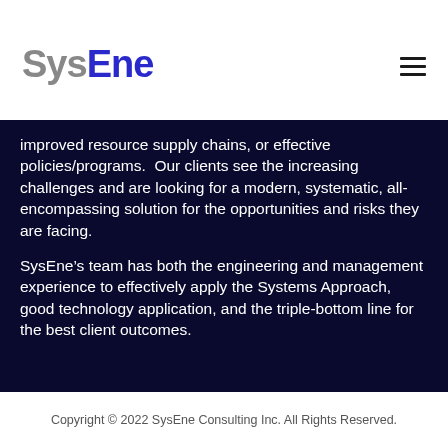SysEne
improved resource supply chains, or effective policies/programs.  Our clients see the increasing challenges and are looking for a modern, systematic, all-encompassing solution for the opportunities and risks they are facing.
SysEne’s team has both the engineering and management experience to effectively apply the Systems Approach, good technology application, and the triple-bottom line for the best client outcomes.
Copyright © 2022 SysEne Consulting Inc. All Rights Reserved.